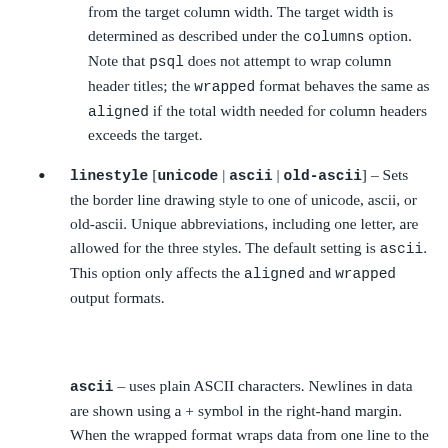from the target column width. The target width is determined as described under the columns option. Note that psql does not attempt to wrap column header titles; the wrapped format behaves the same as aligned if the total width needed for column headers exceeds the target.
linestyle [unicode | ascii | old-ascii] – Sets the border line drawing style to one of unicode, ascii, or old-ascii. Unique abbreviations, including one letter, are allowed for the three styles. The default setting is ascii. This option only affects the aligned and wrapped output formats.
ascii – uses plain ASCII characters. Newlines in data are shown using a + symbol in the right-hand margin. When the wrapped format wraps data from one line to the next without a newline character, a dot (.) is shown in the right-hand margin of the first line, and again in the left-hand